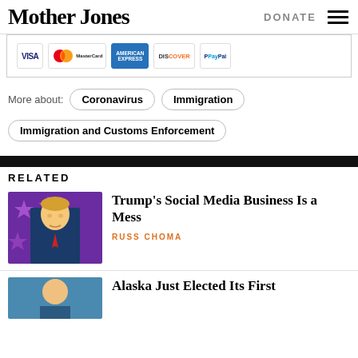Mother Jones | DONATE
[Figure (other): Payment logos: VISA, MasterCard, American Express, Discover, PayPal]
More about: Coronavirus  Immigration
Coronavirus
Immigration
Immigration and Customs Enforcement
RELATED
[Figure (photo): Photo of Donald Trump at podium with purple star background]
Trump's Social Media Business Is a Mess
RUSS CHOMA
[Figure (photo): Partial photo of a person, article about Alaska]
Alaska Just Elected Its First